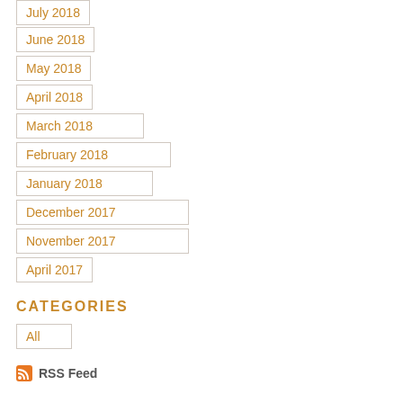July 2018
June 2018
May 2018
April 2018
March 2018
February 2018
January 2018
December 2017
November 2017
April 2017
CATEGORIES
All
RSS Feed